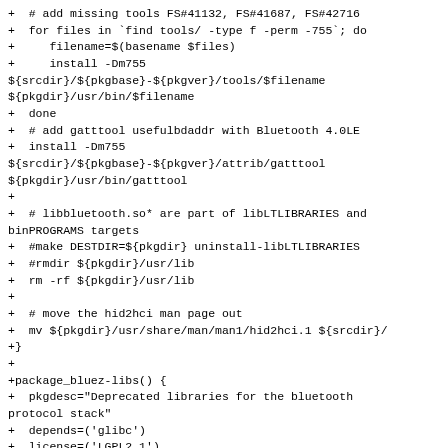+  # add missing tools FS#41132, FS#41687, FS#42716
+  for files in `find tools/ -type f -perm -755`; do
+     filename=$(basename $files)
+     install -Dm755
${srcdir}/${pkgbase}-${pkgver}/tools/$filename
${pkgdir}/usr/bin/$filename
+  done
+  # add gatttool usefulbdaddr with Bluetooth 4.0LE
+  install -Dm755
${srcdir}/${pkgbase}-${pkgver}/attrib/gatttool
${pkgdir}/usr/bin/gatttool
+
+  # libbluetooth.so* are part of libLTLIBRARIES and binPROGRAMS targets
+  #make DESTDIR=${pkgdir} uninstall-libLTLIBRARIES
+  #rmdir ${pkgdir}/usr/lib
+  rm -rf ${pkgdir}/usr/lib
+
+  # move the hid2hci man page out
+  mv ${pkgdir}/usr/share/man/man1/hid2hci.1 ${srcdir}/
+}
+
+package_bluez-libs() {
+  pkgdesc="Deprecated libraries for the bluetooth
protocol stack"
+  depends=('glibc')
+  license=('LGPL2.1')
+
+  cd ${pkgbase}-${pkgver}
+  make DESTDIR=${pkgdir} \